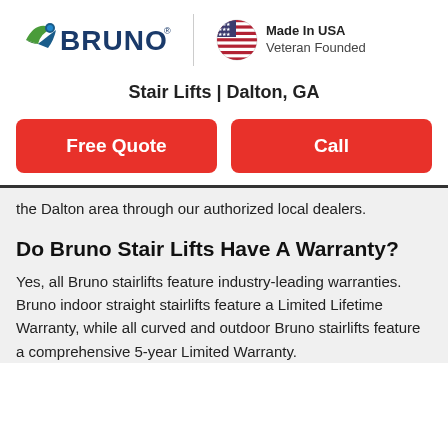[Figure (logo): Bruno logo with stylized bird/arrow icon in green and blue, followed by BRUNO text in dark blue with registered trademark symbol. Vertical divider line. Circle badge with US flag design. 'Made In USA / Veteran Founded' text.]
Stair Lifts | Dalton, GA
Free Quote
Call
the Dalton area through our authorized local dealers.
Do Bruno Stair Lifts Have A Warranty?
Yes, all Bruno stairlifts feature industry-leading warranties. Bruno indoor straight stairlifts feature a Limited Lifetime Warranty, while all curved and outdoor Bruno stairlifts feature a comprehensive 5-year Limited Warranty.